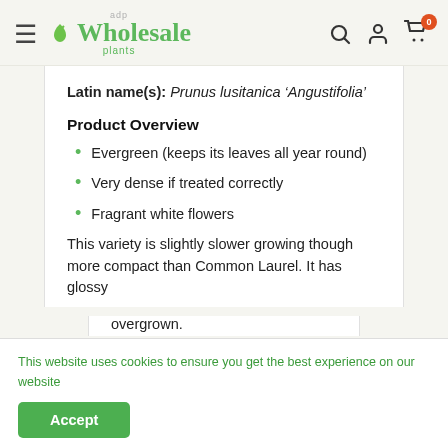[Figure (logo): ADP Wholesale Plants logo with green leaf icon and stylized text]
Latin name(s): Prunus lusitanica ‘Angustifolia’
Product Overview
Evergreen (keeps its leaves all year round)
Very dense if treated correctly
Fragrant white flowers
This variety is slightly slower growing though more compact than Common Laurel. It has glossy
This website uses cookies to ensure you get the best experience on our website
overgrown.